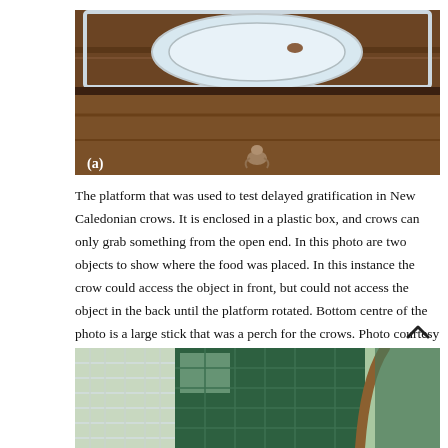[Figure (photo): Photo (a): A rotating platform enclosed in a plastic box used to test delayed gratification in New Caledonian crows. Shows a circular tray on a wooden surface with a bird visible at the bottom center and a label '(a)' in the lower left.]
The platform that was used to test delayed gratification in New Caledonian crows. It is enclosed in a plastic box, and crows can only grab something from the open end. In this photo are two objects to show where the food was placed. In this instance the crow could access the object in front, but could not access the object in the back until the platform rotated. Bottom centre of the photo is a large stick that was a perch for the crows. Photo courtesy of Animal Cognition journal.
[Figure (photo): Partial photo at bottom of page showing an outdoor enclosure with green netting/mesh and a branch/stick visible.]